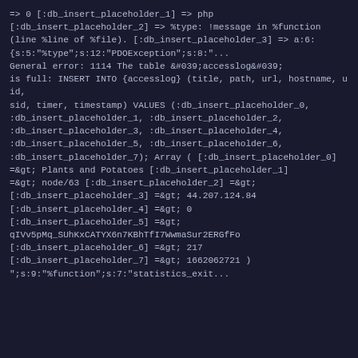=&gt; 0 [:db_insert_placeholder_1] =&gt; php [:db_insert_placeholder_2] =&gt; %type: !message in %function (line %line of %file). [:db_insert_placeholder_3] =&gt; a:6:{s:5:&quot;%type&quot;;s:12:&quot;PDOException&quot;;s:8:&quot;...General error: 1114 The table &amp;#039;accesslog&amp;#039; is full: INSERT INTO {accesslog} (title, path, url, hostname, uid, sid, timer, timestamp) VALUES (:db_insert_placeholder_0, :db_insert_placeholder_1, :db_insert_placeholder_2, :db_insert_placeholder_3, :db_insert_placeholder_4, :db_insert_placeholder_5, :db_insert_placeholder_6, :db_insert_placeholder_7); Array ( [:db_insert_placeholder_0] =&amp;gt; Plants and Potatoes [:db_insert_placeholder_1] =&amp;gt; node/63 [:db_insert_placeholder_2] =&amp;gt; [:db_insert_placeholder_3] =&amp;gt; 44.207.124.84 [:db_insert_placeholder_4] =&amp;gt; 0 [:db_insert_placeholder_5] =&amp;gt; qIVv5pMq_SUhKxCATYX6n7KBhTfI7WwmaSur2ERGfFo [:db_insert_placeholder_6] =&amp;gt; 217 [:db_insert_placeholder_7] =&amp;gt; 1662062721 ) &quot;;s:9:&quot;%function&quot;;s:7:&quot;statistics_exit...